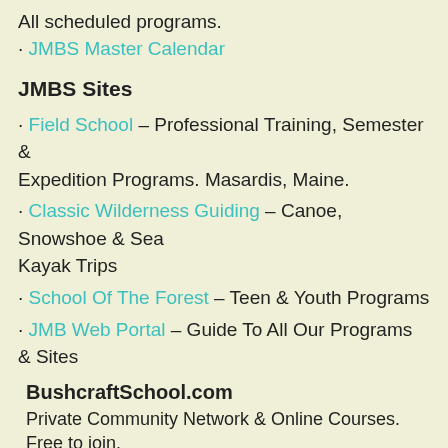All scheduled programs.
· JMBS Master Calendar
JMBS Sites
· Field School – Professional Training, Semester & Expedition Programs. Masardis, Maine.
· Classic Wilderness Guiding – Canoe, Snowshoe & Sea Kayak Trips
· School Of The Forest – Teen & Youth Programs
· JMB Web Portal – Guide To All Our Programs & Sites
BushcraftSchool.com
Private Community Network & Online Courses. Free to join.
· BushcraftSchool.com
Types, Etc.